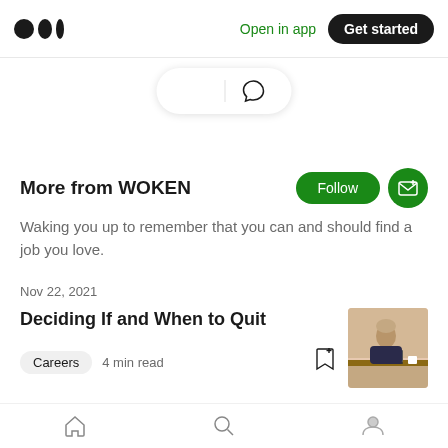Medium logo | Open in app | Get started
[Figure (screenshot): Clap and comment action bar with clapping hands icon and speech bubble icon]
More from WOKEN
Waking you up to remember that you can and should find a job you love.
Nov 22, 2021
Deciding If and When to Quit
Careers   4 min read
[Figure (photo): Thumbnail photo of a person sitting at a desk with a laptop and coffee mug]
Home | Search | Profile navigation icons